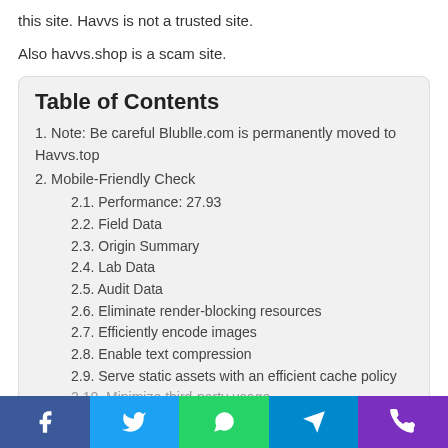this site. Havvs is not a trusted site.
Also havvs.shop is a scam site.
Table of Contents
1. Note: Be careful Blublle.com is permanently moved to Havvs.top
2. Mobile-Friendly Check
2.1. Performance: 27.93
2.2. Field Data
2.3. Origin Summary
2.4. Lab Data
2.5. Audit Data
2.6. Eliminate render-blocking resources
2.7. Efficiently encode images
2.8. Enable text compression
2.9. Serve static assets with an efficient cache policy
2.10. Minimize third-party usage